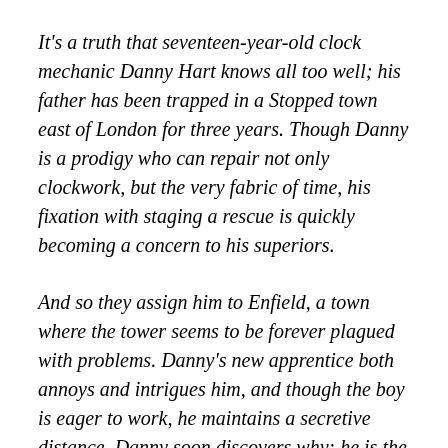It's a truth that seventeen-year-old clock mechanic Danny Hart knows all too well; his father has been trapped in a Stopped town east of London for three years. Though Danny is a prodigy who can repair not only clockwork, but the very fabric of time, his fixation with staging a rescue is quickly becoming a concern to his superiors.
And so they assign him to Enfield, a town where the tower seems to be forever plagued with problems. Danny's new apprentice both annoys and intrigues him, and though the boy is eager to work, he maintains a secretive distance. Danny soon discovers why: he is the tower's clock spirit, a mythical being that oversees Enfield's time. Though the boys are drawn together by their